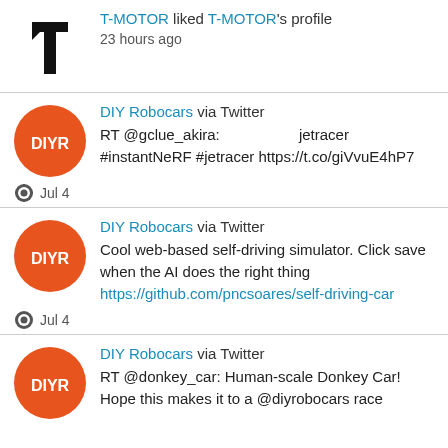T-MOTOR liked T-MOTOR's profile
23 hours ago
DIY Robocars via Twitter
RT @gclue_akira: 　　　　　jetracer　　　#instantNeRF #jetracer https://t.co/giVvuE4hP7
Jul 4
DIY Robocars via Twitter
Cool web-based self-driving simulator. Click save when the AI does the right thing https://github.com/pncsoares/self-driving-car
Jul 4
DIY Robocars via Twitter
RT @donkey_car: Human-scale Donkey Car! Hope this makes it to a @diyrobocars race